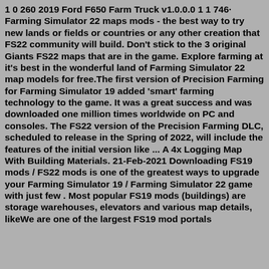1 0 260 2019 Ford F650 Farm Truck v1.0.0.0 1 1 746· Farming Simulator 22 maps mods - the best way to try new lands or fields or countries or any other creation that FS22 community will build. Don't stick to the 3 original Giants FS22 maps that are in the game. Explore farming at it's best in the wonderful land of Farming Simulator 22 map models for free.The first version of Precision Farming for Farming Simulator 19 added 'smart' farming technology to the game. It was a great success and was downloaded one million times worldwide on PC and consoles. The FS22 version of the Precision Farming DLC, scheduled to release in the Spring of 2022, will include the features of the initial version like ... A 4x Logging Map With Building Materials. 21-Feb-2021 Downloading FS19 mods / FS22 mods is one of the greatest ways to upgrade your Farming Simulator 19 / Farming Simulator 22 game with just few . Most popular FS19 mods (buildings) are storage warehouses, elevators and various map details, likeWe are one of the largest FS19 mod portals